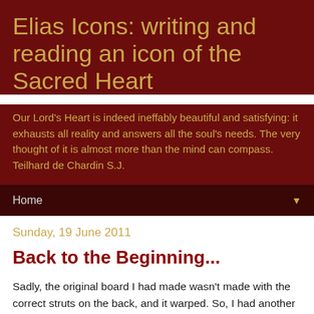Elias Icons: writing and reading an icon of the Sacred Heart
Our Lord's Heart is indeed ineffably beautiful and satisfying: it exhausts all reality and answers all the soul's needs. The very thought of it is almost more than the mind can compass. Teilhard de Chardin S.J.
Home
Sunday, 19 June 2011
Back to the Beginning...
Sadly, the original board I had made wasn't made with the correct struts on the back, and it warped. So, I had another board made up which has set things back a little. However,